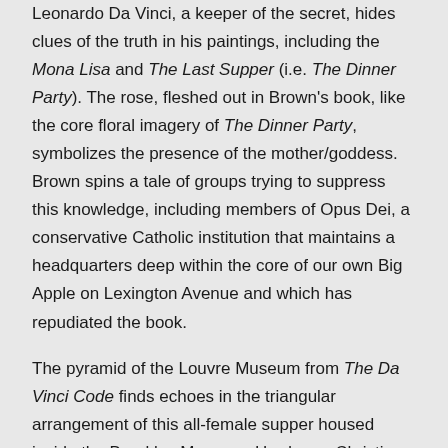Leonardo Da Vinci, a keeper of the secret, hides clues of the truth in his paintings, including the Mona Lisa and The Last Supper (i.e. The Dinner Party). The rose, fleshed out in Brown's book, like the core floral imagery of The Dinner Party, symbolizes the presence of the mother/goddess. Brown spins a tale of groups trying to suppress this knowledge, including members of Opus Dei, a conservative Catholic institution that maintains a headquarters deep within the core of our own Big Apple on Lexington Avenue and which has repudiated the book.
The pyramid of the Louvre Museum from The Da Vinci Code finds echoes in the triangular arrangement of this all-female supper housed inside the Brooklyn Museum. Hard-core Christians have denounced both the goddess centered feminist collaboration and the mystery book by the man. But, my guess is that The Da Vinci Code and its spin-offs will fade away, devolving into a fad or a question in a trivia game. The Dinner